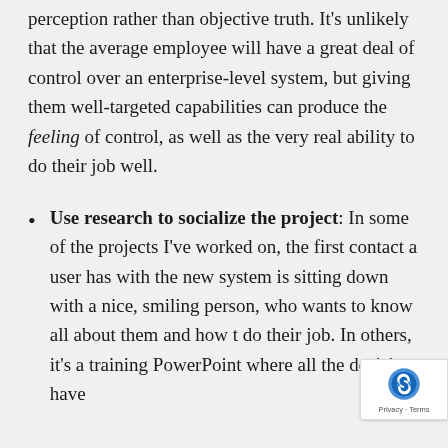perception rather than objective truth. It's unlikely that the average employee will have a great deal of control over an enterprise-level system, but giving them well-targeted capabilities can produce the feeling of control, as well as the very real ability to do their job well.
Use research to socialize the project: In some of the projects I've worked on, the first contact a user has with the new system is sitting down with a nice, smiling person, who wants to know all about them and how they do their job. In others, it's a training PowerPoint where all the decisions have